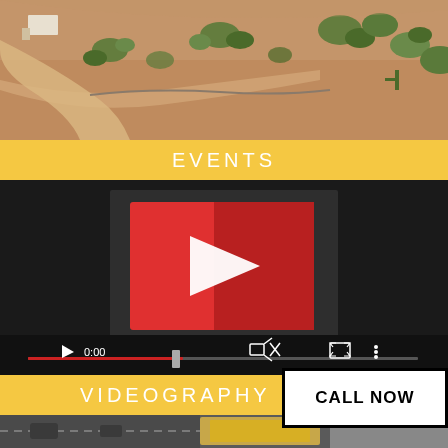[Figure (photo): Aerial drone photo of a desert property with sandy ground, desert vegetation, cacti, and shrubs viewed from above]
EVENTS
[Figure (screenshot): YouTube-style video player with dark background, red play button thumbnail in center, progress bar at bottom showing 0:00 timestamp, volume and fullscreen controls]
VIDEOGRAPHY
CALL NOW
[Figure (photo): Aerial drone photo showing a road and yellow-highlighted property/lot from above]